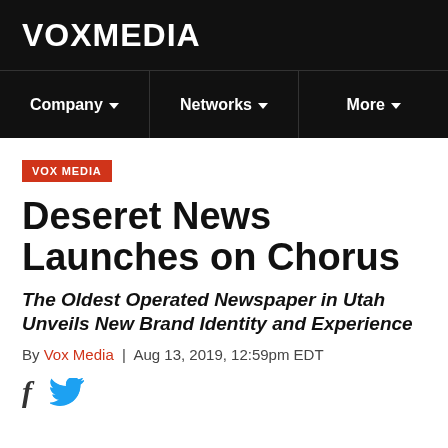VOXMEDIA
Company | Networks | More
VOX MEDIA
Deseret News Launches on Chorus
The Oldest Operated Newspaper in Utah Unveils New Brand Identity and Experience
By Vox Media | Aug 13, 2019, 12:59pm EDT
[Figure (other): Social share icons: Facebook and Twitter]